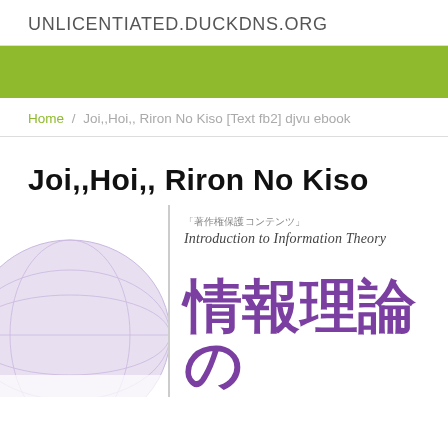UNLICENTIATED.DUCKDNS.ORG
Home / Joi,,Hoi,, Riron No Kiso [Text fb2] djvu ebook
Joi,,Hoi,, Riron No Kiso
[Figure (photo): Book cover image for 'Introduction to Information Theory' (情報理論の基礎) showing a globe in purple/lavender tones with Japanese copyright notice text '著作権保護コンテンツ' and the italic English title 'Introduction to Information Theory', plus large purple kanji characters '情報理論の']